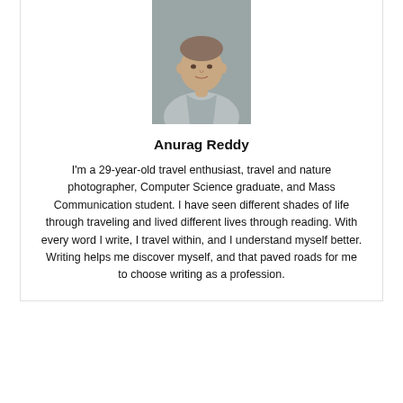[Figure (photo): Portrait photo of Anurag Reddy, a man in a light grey shirt, against a grey background]
Anurag Reddy
I'm a 29-year-old travel enthusiast, travel and nature photographer, Computer Science graduate, and Mass Communication student. I have seen different shades of life through traveling and lived different lives through reading. With every word I write, I travel within, and I understand myself better. Writing helps me discover myself, and that paved roads for me to choose writing as a profession.